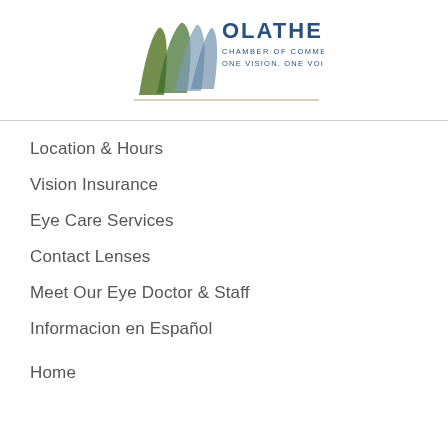[Figure (logo): Olathe Chamber of Commerce logo with green wave graphic and blue text reading 'OLATHE CHAMBER OF COMMERCE ONE VISION. ONE VOICE']
Location & Hours
Vision Insurance
Eye Care Services
Contact Lenses
Meet Our Eye Doctor & Staff
Informacion en Español
Home